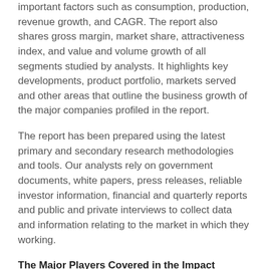important factors such as consumption, production, revenue growth, and CAGR. The report also shares gross margin, market share, attractiveness index, and value and volume growth of all segments studied by analysts. It highlights key developments, product portfolio, markets served and other areas that outline the business growth of the major companies profiled in the report.
The report has been prepared using the latest primary and secondary research methodologies and tools. Our analysts rely on government documents, white papers, press releases, reliable investor information, financial and quarterly reports and public and private interviews to collect data and information relating to the market in which they working.
The Major Players Covered in the Impact Resistant Aircraft Seats Markets: